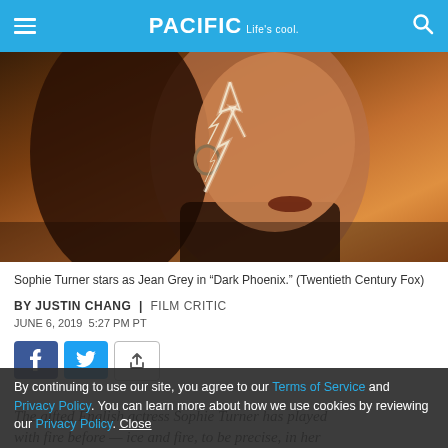PACIFIC Life's cool
[Figure (photo): Close-up of Sophie Turner as Jean Grey with lightning cracking across her face, warm amber background]
Sophie Turner stars as Jean Grey in “Dark Phoenix.” (Twentieth Century Fox)
BY JUSTIN CHANG | FILM CRITIC
JUNE 6, 2019 5:27 PM PT
[Figure (infographic): Social share buttons: Facebook, Twitter, Share]
By continuing to use our site, you agree to our Terms of Service and Privacy Policy. You can learn more about how we use cookies by reviewing our Privacy Policy. Close
The gifted English actress Sophie Turner has played with fire before — ice and fire, to be precise, in her